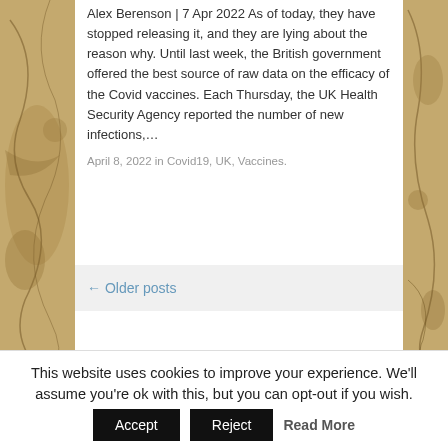Alex Berenson | 7 Apr 2022 As of today, they have stopped releasing it, and they are lying about the reason why. Until last week, the British government offered the best source of raw data on the efficacy of the Covid vaccines. Each Thursday, the UK Health Security Agency reported the number of new infections,…
April 8, 2022 in Covid19, UK, Vaccines.
← Older posts
Search …
This website uses cookies to improve your experience. We'll assume you're ok with this, but you can opt-out if you wish.
Accept
Reject
Read More